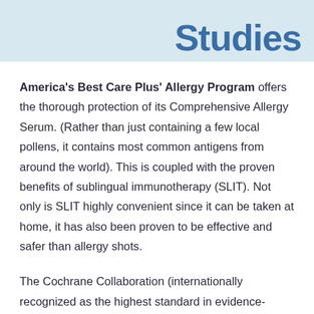Studies
America's Best Care Plus' Allergy Program offers the thorough protection of its Comprehensive Allergy Serum. (Rather than just containing a few local pollens, it contains most common antigens from around the world). This is coupled with the proven benefits of sublingual immunotherapy (SLIT). Not only is SLIT highly convenient since it can be taken at home, it has also been proven to be effective and safer than allergy shots.
The Cochrane Collaboration (internationally recognized as the highest standard in evidence-based health care)